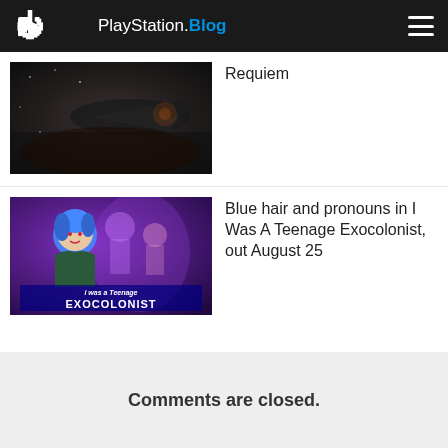PlayStation.Blog
[Figure (screenshot): Partial view of a spacecraft or sci-fi scene thumbnail for a game article about Requiem]
Requiem
[Figure (photo): I Was A Teenage Exocolonist game art showing a blue-haired character with sci-fi/fantasy group in background, with game logo]
Blue hair and pronouns in I Was A Teenage Exocolonist, out August 25
Comments are closed.